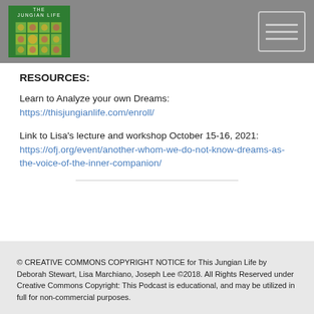[Figure (logo): The Jungian Life logo: green box with decorative pattern and text]
RESOURCES:
Learn to Analyze your own Dreams: https://thisjungianlife.com/enroll/
Link to Lisa's lecture and workshop October 15-16, 2021: https://ofj.org/event/another-whom-we-do-not-know-dreams-as-the-voice-of-the-inner-companion/
© CREATIVE COMMONS COPYRIGHT NOTICE for This Jungian Life by Deborah Stewart, Lisa Marchiano, Joseph Lee ©2018. All Rights Reserved under Creative Commons Copyright: This Podcast is educational, and may be utilized in full for non-commercial purposes.